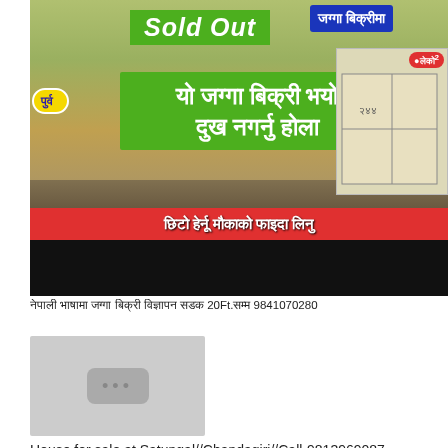[Figure (screenshot): Video thumbnail showing land for sale advertisement in Nepali with 'Sold Out' overlay text, green banner with Nepali text 'यो जग्गा बिक्री भयो दुख नगर्नु होला', red banner with Nepali text 'छिटो हेर्नू मौकाको फाइदा लिनु', and a plot map on the right side]
नेपाली भाषामा जग्गा बिक्री विज्ञापन सडक 20Ft.सम्म 9841070280
[Figure (screenshot): Video thumbnail placeholder with grey background and three dots icon]
House for sale at Satungal//Chandagiri//Call-9813969087